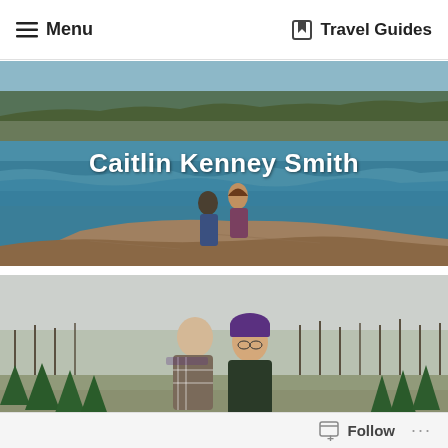≡ Menu    ⊡ Travel Guides
[Figure (photo): Two people standing on rocky coastal ledge with ocean waves and pine-covered cliffs in background. White text overlay reads 'Caitlin Kenney Smith'.]
Caitlin Kenney Smith
[Figure (photo): A couple standing outdoors at a Christmas tree farm on a grey overcast day. The woman wears a purple knit hat. Bare trees visible in background.]
Follow  ...